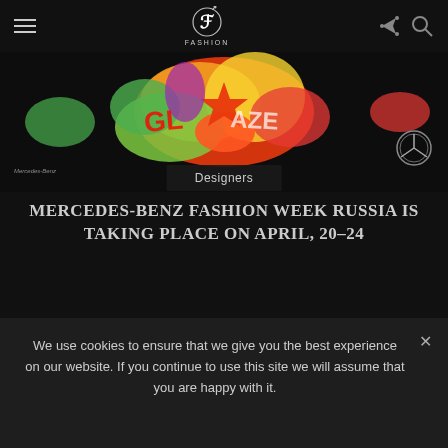FASHION — navigation header with hamburger menu, Fashion logo, share and search icons
[Figure (photo): Colorful graffiti-style fashion week artwork on dark background, with Mercedes-Benz branding and logo]
Designers
MERCEDES-BENZ FASHION WEEK RUSSIA IS TAKING PLACE ON APRIL, 20-24
< >
We use cookies to ensure that we give you the best experience on our website. If you continue to use this site we will assume that you are happy with it.